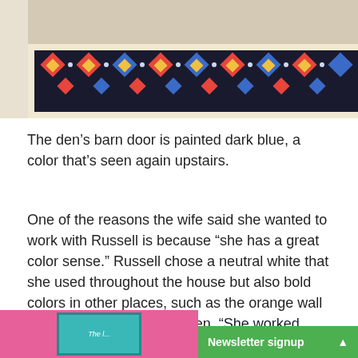[Figure (photo): Top portion of a photo showing a colorful patterned rug/runner on a light wood floor near a wall]
The den’s barn door is painted dark blue, a color that’s seen again upstairs.
One of the reasons the wife said she wanted to work with Russell is because “she has a great color sense.” Russell chose a neutral white that she used throughout the house but also bold colors in other places, such as the orange wall along the stair off the kitchen. “She worked hard to get the right orange—it’s not too bright and not too dark, and looks good on both cloudy and sunny days,” the wife says.
[Figure (screenshot): Bottom partial screenshot showing a pink/magenta background with a teal framed element, and a green Newsletter signup button]